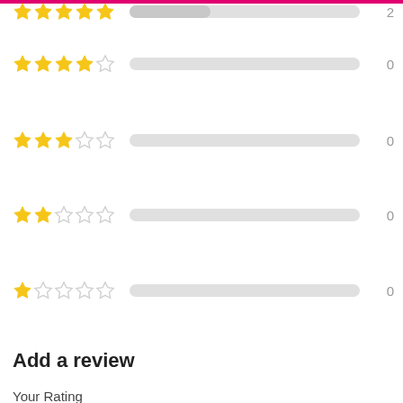[Figure (infographic): Star rating distribution rows with 5-star to 1-star ratings, progress bars, and counts. 5-star row is partially cut off at top showing partial bar filled. 4-star row shows 0, 3-star shows 0, 2-star shows 0, 1-star shows 0.]
Add a review
Your Rating
[Figure (infographic): Five pink outline stars for rating selection]
Your Review
[Figure (other): Text input area / textarea with rounded corners for entering review text]
[Figure (other): Pink back-to-top button with white chevron arrow]